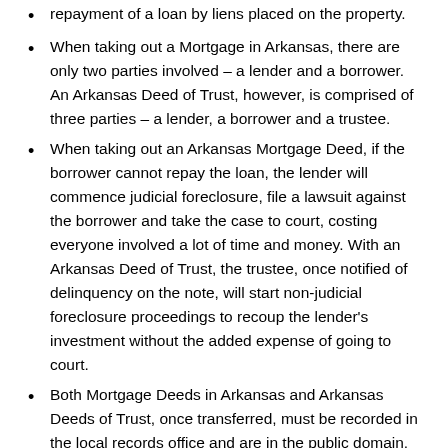repayment of a loan by liens placed on the property.
When taking out a Mortgage in Arkansas, there are only two parties involved – a lender and a borrower. An Arkansas Deed of Trust, however, is comprised of three parties – a lender, a borrower and a trustee.
When taking out an Arkansas Mortgage Deed, if the borrower cannot repay the loan, the lender will commence judicial foreclosure, file a lawsuit against the borrower and take the case to court, costing everyone involved a lot of time and money. With an Arkansas Deed of Trust, the trustee, once notified of delinquency on the note, will start non-judicial foreclosure proceedings to recoup the lender's investment without the added expense of going to court.
Both Mortgage Deeds in Arkansas and Arkansas Deeds of Trust, once transferred, must be recorded in the local records office and are in the public domain.
An Arkansas Deed of Trust is a viable alternative to a Mortgage in Arkansas because of the non-judicial foreclosure process.